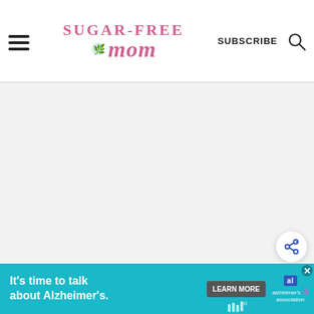Sugar-Free Mom — SUBSCRIBE
[Figure (photo): Large white/light gray image area placeholder for a recipe photo]
You could combine the strawberries salsa and the chicken all together and serve in one dish, but
[Figure (other): Advertisement banner: It's time to talk about Alzheimer's. LEARN MORE. Alzheimer's Association logo.]